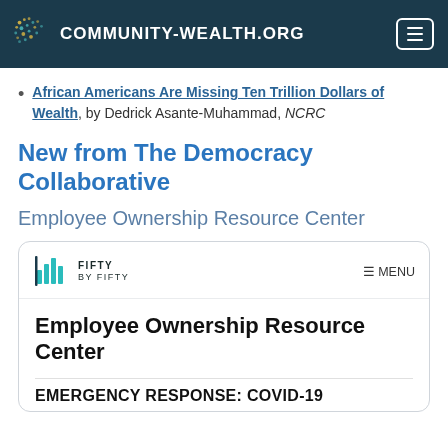COMMUNITY-WEALTH.ORG
African Americans Are Missing Ten Trillion Dollars of Wealth, by Dedrick Asante-Muhammad, NCRC
New from The Democracy Collaborative
Employee Ownership Resource Center
[Figure (screenshot): Screenshot of the Fifty by Fifty website showing the Employee Ownership Resource Center page with EMERGENCY RESPONSE: COVID-19 section heading visible]